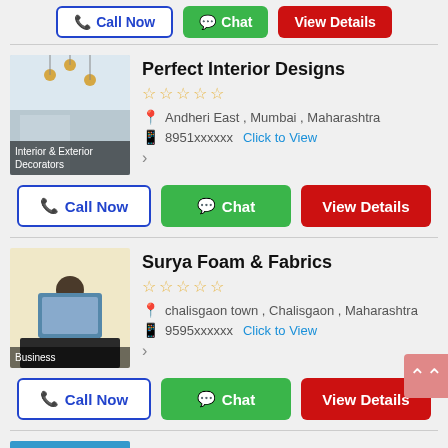[Figure (screenshot): Top partial button row with Call Now, Chat, and View Details buttons]
[Figure (photo): Interior room photo with hanging pendant lights showing Interior & Exterior Decorators label]
Perfect Interior Designs
★★★★★ (empty stars)
Andheri East , Mumbai , Maharashtra
8951xxxxxx  Click to View
Call Now  Chat  View Details
[Figure (photo): Person using tablet/laptop photo with Business label]
Surya Foam & Fabrics
★★★★★ (empty stars)
chalisgaon town , Chalisgaon , Maharashtra
9595xxxxxx  Click to View
Call Now  Chat  View Details
[Figure (photo): Blue background with stacked items - Citizen Umbrella listing image]
Citizen Umbrella
★★★★★ (empty stars)